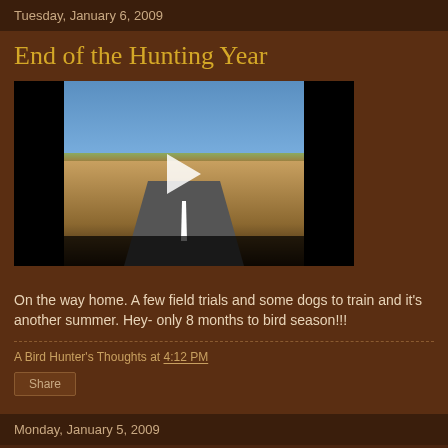Tuesday, January 6, 2009
End of the Hunting Year
[Figure (screenshot): Video player showing a road scene with play button overlay, black bars on left and right sides]
On the way home. A few field trials and some dogs to train and it's another summer. Hey- only 8 months to bird season!!!
A Bird Hunter's Thoughts at 4:12 PM
Share
Monday, January 5, 2009
I...d of F...l ...t...